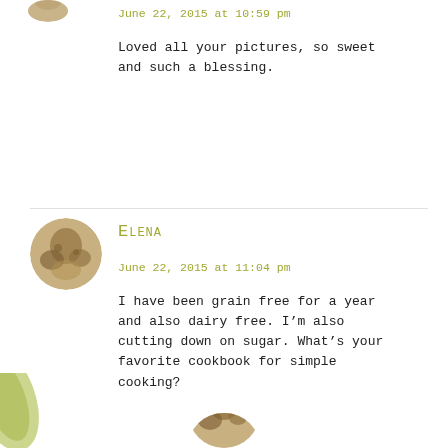June 22, 2015 at 10:59 pm
Loved all your pictures, so sweet and such a blessing.
Elena
June 22, 2015 at 11:04 pm
I have been grain free for a year and also dairy free. I’m also cutting down on sugar. What’s your favorite cookbook for simple cooking?